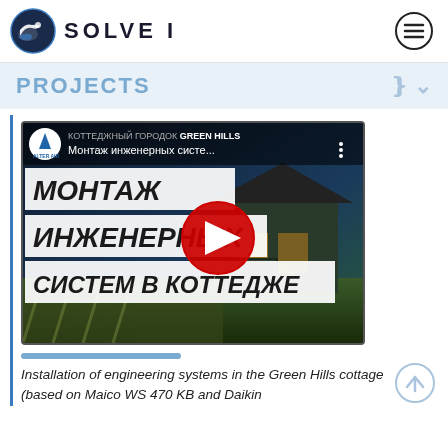[Figure (logo): Solovei company logo with bird icon and text SOLOVEI, plus hamburger menu icon]
PROJECTS
[Figure (screenshot): YouTube video thumbnail showing Russian text: МОНТАЖ ИНЖЕНЕРНЫХ СИСТЕМ В КОТТЕДЖЕ with ALTER AIR logo and GREEN HILLS cottage background image, with YouTube play button overlay]
[Figure (other): Blue horizontal progress/separator bar]
Installation of engineering systems in the Green Hills cottage (based on Maico WS 470 KB and Daikin